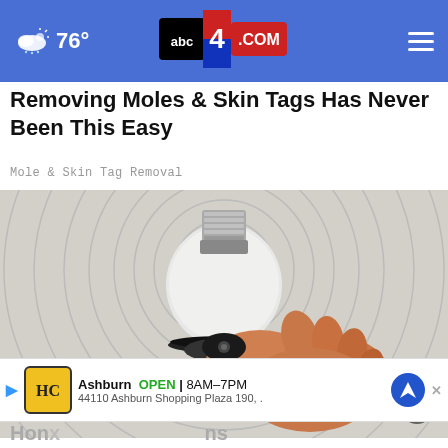76° | abc4.com
Removing Moles & Skin Tags Has Never Been This Easy
Mole & Skin Tag Removal
[Figure (photo): A hand holding a light bulb against a spiral-patterned background]
Ashburn OPEN 8AM–7PM 44110 Ashburn Shopping Plaza 190, .
Hon...  s